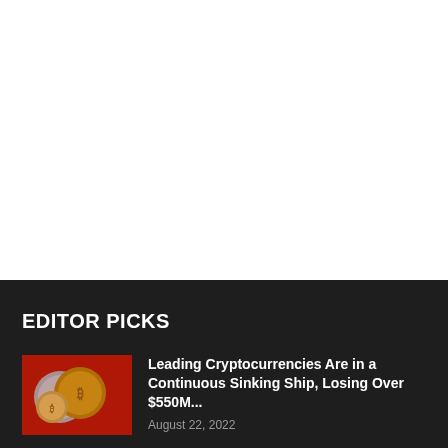EDITOR PICKS
[Figure (photo): Cryptocurrency coins including Bitcoin and Dogecoin on a red background]
Leading Cryptocurrencies Are in a Continuous Sinking Ship, Losing Over $550M...
August 22, 2022